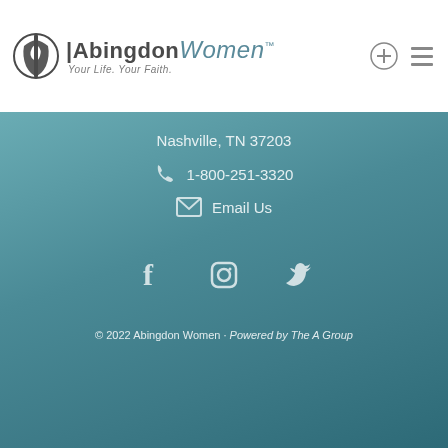[Figure (logo): Abingdon Women logo with circular icon, 'Abingdon Women' text, and tagline 'Your Life. Your Faith.']
Nashville, TN 37203
1-800-251-3320
Email Us
[Figure (illustration): Social media icons: Facebook, Instagram, Twitter]
© 2022 Abingdon Women · Powered by The A Group